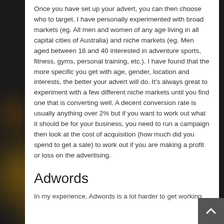Once you have set up your advert, you can then choose who to target. I have personally experimented with broad markets (eg. All men and women of any age living in all capital cities of Australia) and niche markets (eg. Men aged between 18 and 40 interested in adventure sports, fitness, gyms, personal training, etc.). I have found that the more specific you get with age, gender, location and interests, the better your advert will do. It's always great to experiment with a few different niche markets until you find one that is converting well. A decent conversion rate is usually anything over 2% but if you want to work out what it should be for your business, you need to run a campaign then look at the cost of acquisition (how much did you spend to get a sale) to work out if you are making a profit or loss on the advertising.
Adwords
In my experience, Adwords is a lot harder to get working...